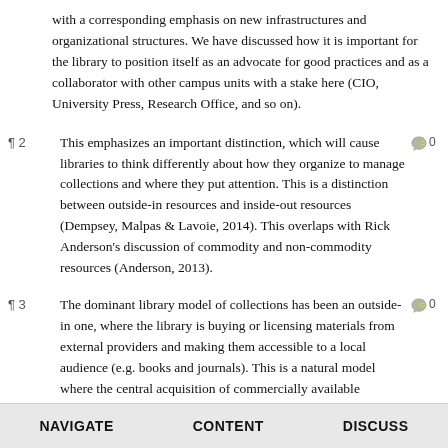with a corresponding emphasis on new infrastructures and organizational structures. We have discussed how it is important for the library to position itself as an advocate for good practices and as a collaborator with other campus units with a stake here (CIO, University Press, Research Office, and so on).
¶2 This emphasizes an important distinction, which will cause libraries to think differently about how they organize to manage collections and where they put attention. This is a distinction between outside-in resources and inside-out resources (Dempsey, Malpas & Lavoie, 2014). This overlaps with Rick Anderson's discussion of commodity and non-commodity resources (Anderson, 2013).
¶3 The dominant library model of collections has been an outside-in one, where the library is buying or licensing materials from external providers and making them accessible to a local audience (e.g. books and journals). This is a natural model where the central acquisition of commercially available materials reduces costs (transaction and financial) across the institution. Libraries will continue to explore licensing and acquisition strategies to
NAVIGATE   CONTENT   DISCUSS